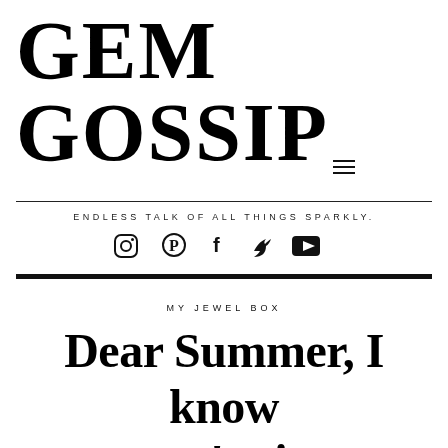GEM GOSSIP
ENDLESS TALK OF ALL THINGS SPARKLY.
MY JEWEL BOX
Dear Summer, I know you gon' miss me #RoundakFinalLevel